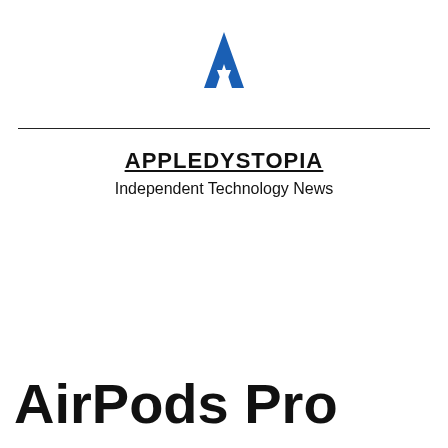[Figure (logo): Appledystopia logo: a blue stylized letter A / arrow shape]
APPLEDYSTOPIA
Independent Technology News
AirPods Pro